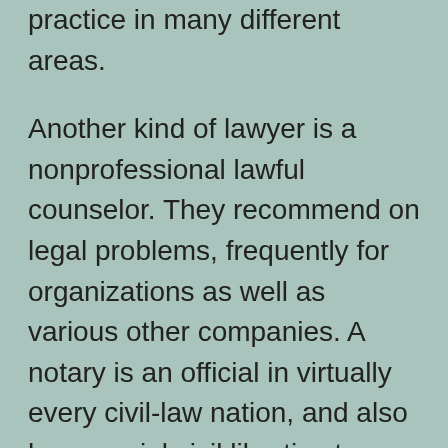practice in many different areas. Another kind of lawyer is a nonprofessional lawful counselor. They recommend on legal problems, frequently for organizations as well as various other companies. A notary is an official in virtually every civil-law nation, and also has special civil liberties to carry out workplace job. An attorney's salary depends on the kind of job that they do. Some lawyers work in law office, while others practice secretive method. In all cases, however, lawyers are anticipated to work long hrs. Listed here are several of the most usual occupations